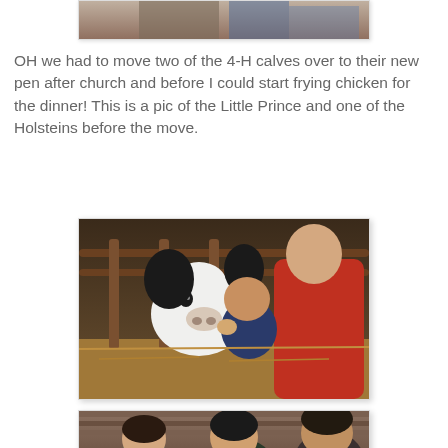[Figure (photo): Partial view of a photo at top of page, cropped — appears to show people sitting, partial view only]
OH we had to move two of the 4-H calves over to their new pen after church and before I could start frying chicken for the dinner!  This is a pic of the Little Prince and one of the Holsteins before the move.
[Figure (photo): A man in a red sweater holds a young child (the Little Prince) who is touching the face of a white Holstein calf through a barn fence. Straw is visible on the ground.]
[Figure (photo): Partial view of a photo at bottom of page showing children and adults in a barn setting, cropped]